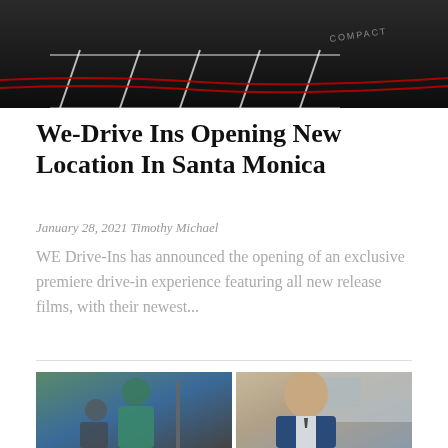[Figure (photo): Dark photo of a parking lot or drive-in theater with painted lines on pavement, dark background, 'COMPACT' text visible]
We-Drive Ins Opening New Location In Santa Monica
January 28, 2021 Timothy Michael
WE Drive-Ins has announced the opening of an exclusive premiere drive-in experience featuring all new release films, with their newest...
[Figure (photo): Two photos side by side: left shows a person in teal/blue shirt, right shows a man in a suit smiling]